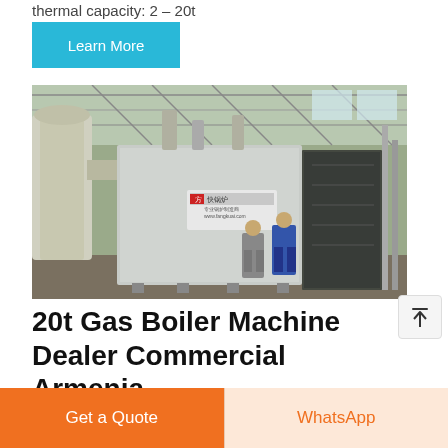thermal capacity: 2 – 20t
Learn More
[Figure (photo): Industrial gas boiler machine in a large factory setting. A large silver/metallic boiler unit with Chinese branding label is shown with two workers standing in front of it. The factory interior shows steel roof trusses and additional industrial equipment.]
20t Gas Boiler Machine Dealer Commercial Armenia
20t Gas Boiler Machine Dealer Commercial Armenia industrial
Get a Quote
WhatsApp